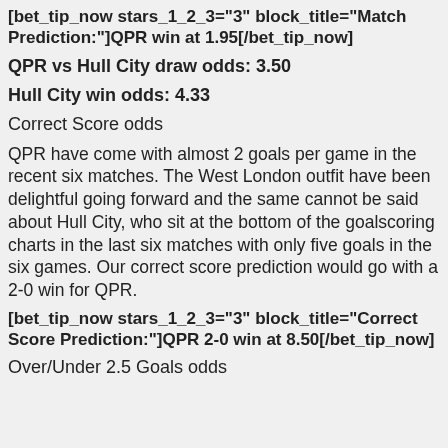[bet_tip_now stars_1_2_3="3" block_title="Match Prediction:"]QPR win at 1.95[/bet_tip_now]
QPR vs Hull City draw odds: 3.50
Hull City win odds: 4.33
Correct Score odds
QPR have come with almost 2 goals per game in the recent six matches. The West London outfit have been delightful going forward and the same cannot be said about Hull City, who sit at the bottom of the goalscoring charts in the last six matches with only five goals in the six games. Our correct score prediction would go with a 2-0 win for QPR.
[bet_tip_now stars_1_2_3="3" block_title="Correct Score Prediction:"]QPR 2-0 win at 8.50[/bet_tip_now]
Over/Under 2.5 Goals odds